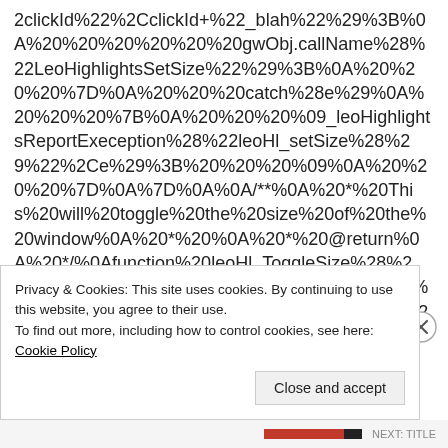2clickId%22%2CclickId+%22_blah%22%29%3B%0A%20%20%20%20%20%20gwObj.callName%28%22LeoHighlightsSetSize%22%29%3B%0A%20%20%20%7D%0A%20%20%20catch%28e%29%0A%20%20%20%7B%0A%20%20%20%09_leoHighlightsReportExeception%28%22leoHl_setSize%28%29%22%2Ce%29%3B%20%20%20%09%0A%20%20%20%7D%0A%7D%0A%0A/**%0A%20*%20This%20will%20toggle%20the%20size%20of%20the%20window%0A%20*%20%0A%20*%20@return%0A%20*/%0Afunction%20leoHl_ToggleSize%28%29%0A%7B%0A%20%20%20try%0A%20%20%20%7B%0A%20%20%20%20%20%20var%20gwObj%20%3D%20new%20Gateway%28%29%3B%0A%20%20%20%20%20%20gwObj.callName%28%22LeoHighlightsToggleSize%22%29%3B
Privacy & Cookies: This site uses cookies. By continuing to use this website, you agree to their use.
To find out more, including how to control cookies, see here: Cookie Policy
Close and accept